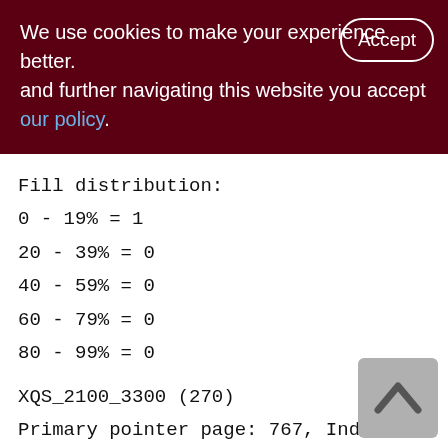We use cookies to make your experience better. By accepting and further navigating this website you accept our policy.
Fill distribution:
0 - 19% = 1
20 - 39% = 0
40 - 59% = 0
60 - 79% = 0
80 - 99% = 0
XQS_2100_3300 (270)
Primary pointer page: 767, Index root page: 776
Total formats: 1, used formats: 1
Average record length: 83.18, total